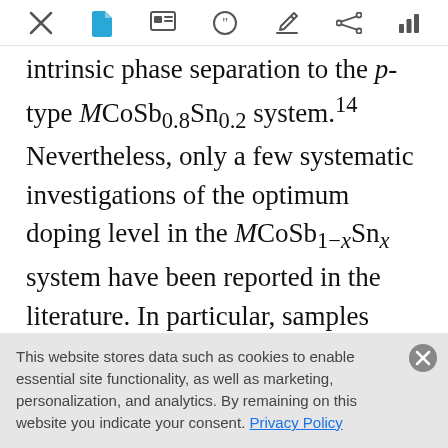Toolbar with navigation icons
intrinsic phase separation to the p-type MCoSb0.8Sn0.2 system.14 Nevertheless, only a few systematic investigations of the optimum doping level in the MCoSb1−xSnx system have been reported in the literature. In particular, samples with 15% Sn substitution are rare.15–17 A common statement is that the most effective p-
This website stores data such as cookies to enable essential site functionality, as well as marketing, personalization, and analytics. By remaining on this website you indicate your consent. Privacy Policy